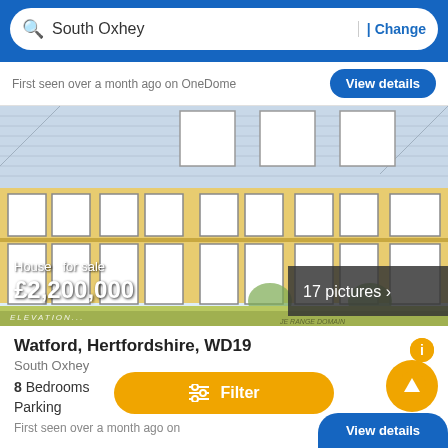South Oxhey | Change
First seen over a month ago on OneDome
[Figure (illustration): Architectural elevation drawing of a two-storey residential building with yellow facade and multiple windows. Shows roof detail, windows, and landscaping. '17 pictures >' badge in bottom right. Overlay text: 'House for sale £2,200,000'. 'ELEVATION.' label bottom left.]
Watford, Hertfordshire, WD19
South Oxhey
8 Bedrooms
Parking
First seen over a month ago on
View details